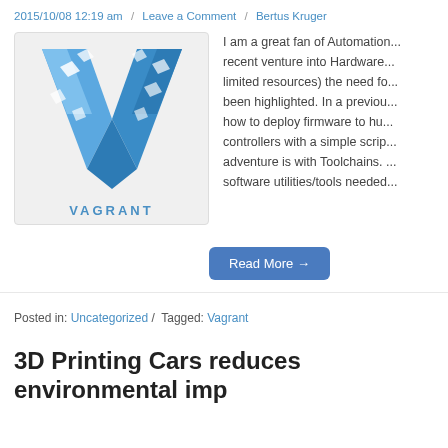2015/10/08 12:19 am / Leave a Comment / Bertus Kruger
[Figure (logo): Vagrant logo — blue 3D geometric V shape with white diamond highlights and VAGRANT text below]
I am a great fan of Automation... recent venture into Hardware... limited resources) the need fo... been highlighted. In a previou... how to deploy firmware to hu... controllers with a simple scrip... adventure is with Toolchains. ... software utilities/tools needed...
Read More →
Posted in: Uncategorized / Tagged: Vagrant
3D Printing Cars reduces environmental imp...